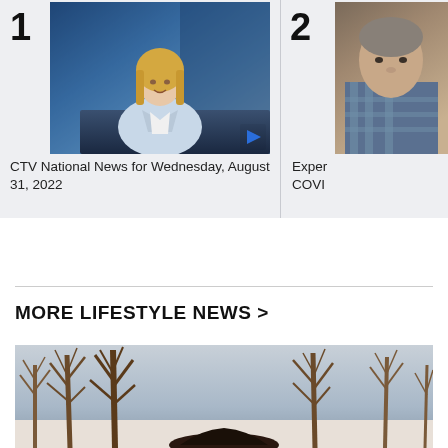1
[Figure (screenshot): Video thumbnail of a blonde female news anchor in a light blue blazer seated at a news desk with a blue-lit studio background. Play button visible at bottom right.]
CTV National News for Wednesday, August 31, 2022
2
[Figure (photo): Partial thumbnail of an older man in a plaid shirt, partially cropped at right edge.]
Exper COVI
MORE LIFESTYLE NEWS >
[Figure (photo): Outdoor winter scene showing bare trees against a grey/blue sky with the roof of a dark car visible at the bottom.]